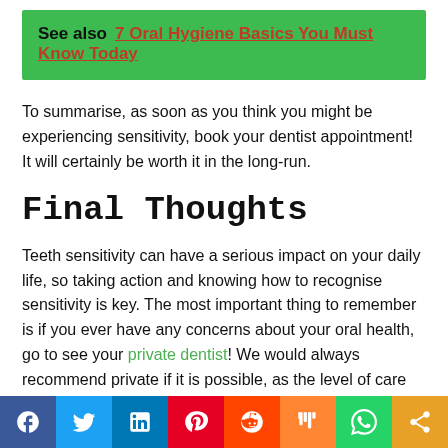See also  7 Oral Hygiene Basics You Must Know Today
To summarise, as soon as you think you might be experiencing sensitivity, book your dentist appointment! It will certainly be worth it in the long-run.
Final Thoughts
Teeth sensitivity can have a serious impact on your daily life, so taking action and knowing how to recognise sensitivity is key. The most important thing to remember is if you ever have any concerns about your oral health, go to see your private dentist! We would always recommend private if it is possible, as the level of care and attention
[Figure (infographic): Social media sharing bar with icons for Facebook, Twitter, LinkedIn, Pinterest, Reddit, Mix, WhatsApp, and Share]